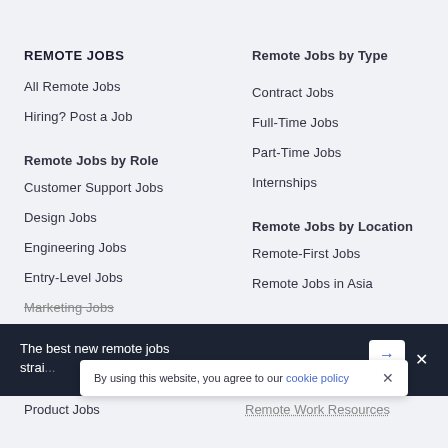REMOTE JOBS
All Remote Jobs
Hiring? Post a Job
Remote Jobs by Role
Customer Support Jobs
Design Jobs
Engineering Jobs
Entry-Level Jobs
Marketing Jobs
Remote Jobs by Type
Contract Jobs
Full-Time Jobs
Part-Time Jobs
Internships
Remote Jobs by Location
Remote-First Jobs
Remote Jobs in Asia
The best new remote jobs straight to your inbox
By using this website, you agree to our cookie policy
Product Jobs
Remote Work Resources